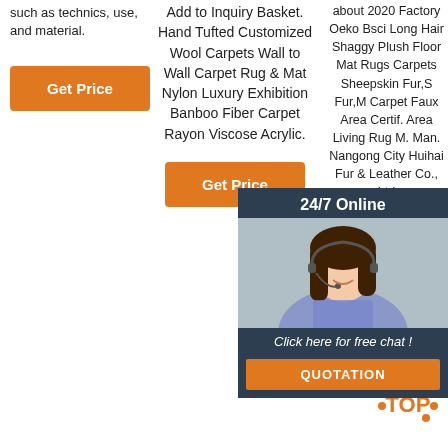such as technics, use, and material.
[Figure (other): Orange Get Price button in column 1]
Add to Inquiry Basket. Hand Tufted Customized Wool Carpets Wall to Wall Carpet Rug & Mat Nylon Luxury Exhibition Banboo Fiber Carpet Rayon Viscose Acrylic.
[Figure (other): Orange Get Price button in column 2]
about 2020 Factory Oeko Bsci Long Hair Shaggy Plush Floor Mat Rugs Carpets Sheepskin Fur, Fur, Carpet Faux Area Certif. Area Living Rug Man. Nangong City Huihai Fur & Leather Co., Ltd
[Figure (photo): 24/7 Online chat overlay with woman wearing headset, Click here for free chat text, and QUOTATION orange button]
[Figure (other): TOP badge with orange dots and text]
[Figure (other): Orange Get Price button in column 3]